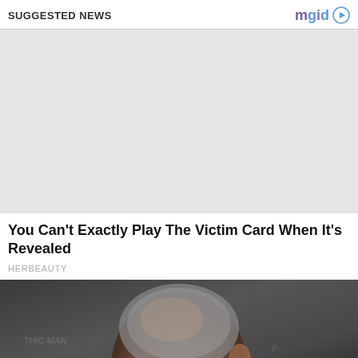SUGGESTED NEWS
[Figure (other): Advertisement placeholder — large light gray rectangle]
You Can't Exactly Play The Victim Card When It's Revealed
HERBEAUTY
[Figure (photo): Close-up photo of the back and side of a man's head with short gray hair, against a dark background with partial text visible]